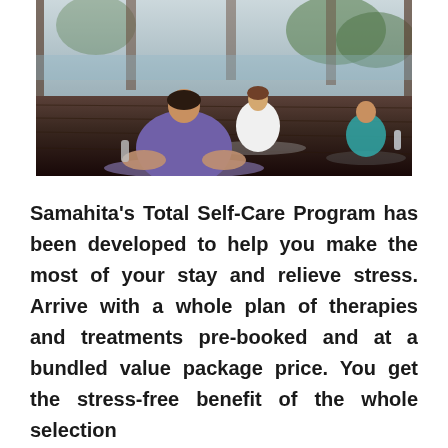[Figure (photo): A yoga class session photographed from behind. In the foreground, a person wearing a purple t-shirt sits cross-legged on a mat. In the middle distance, an instructor in white sits facing the class. To the right, another participant in teal sits cross-legged. The setting appears to be an open-air pavilion with wooden floors, with tropical greenery and water visible in the background.]
Samahita's Total Self-Care Program has been developed to help you make the most of your stay and relieve stress. Arrive with a whole plan of therapies and treatments pre-booked and at a bundled value package price. You get the stress-free benefit of the whole selection